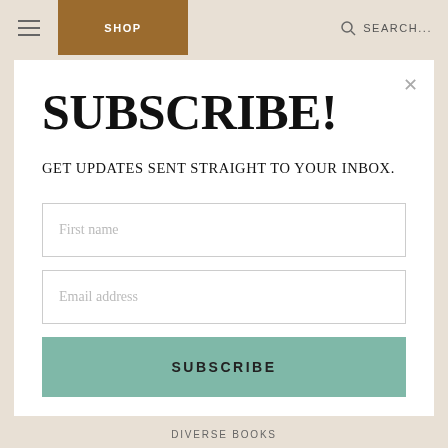SHOP  SEARCH...
SUBSCRIBE!
GET UPDATES SENT STRAIGHT TO YOUR INBOX.
First name
Email address
SUBSCRIBE
DIVERSE BOOKS